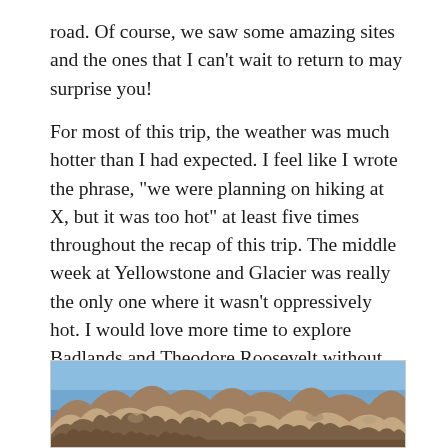road. Of course, we saw some amazing sites and the ones that I can’t wait to return to may surprise you!
For most of this trip, the weather was much hotter than I had expected. I feel like I wrote the phrase, “we were planning on hiking at X, but it was too hot” at least five times throughout the recap of this trip. The middle week at Yellowstone and Glacier was really the only one where it wasn’t oppressively hot. I would love more time to explore Badlands and Theodore Roosevelt without dying of heatstroke.
[Figure (photo): Photograph of rugged Badlands rock formations against a blue sky, showing eroded tan/brown layered rock spires and formations in the foreground.]